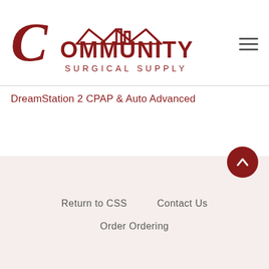[Figure (logo): Community Surgical Supply logo — dark red stylized C with house roofline graphic above COMMUNITY SURGICAL SUPPLY text]
≡ (hamburger menu icon)
DreamStation 2 CPAP & Auto Advanced
[Figure (other): Scroll-to-top button — dark red circle with white upward arrow]
Return to CSS   Contact Us
Order Ordering